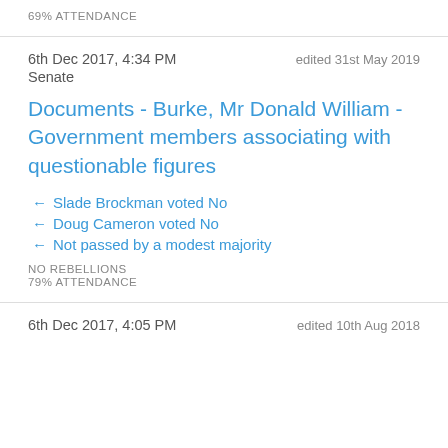69% ATTENDANCE
6th Dec 2017, 4:34 PM   edited 31st May 2019
Senate
Documents - Burke, Mr Donald William - Government members associating with questionable figures
← Slade Brockman voted No
← Doug Cameron voted No
← Not passed by a modest majority
NO REBELLIONS
79% ATTENDANCE
6th Dec 2017, 4:05 PM   edited 10th Aug 2018